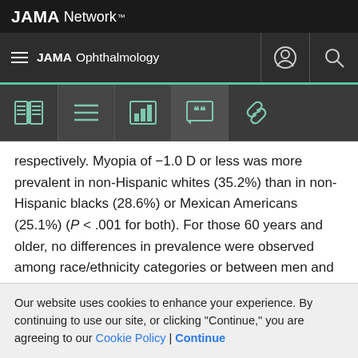JAMA Network
JAMA Ophthalmology
respectively. Myopia of −1.0 D or less was more prevalent in non-Hispanic whites (35.2%) than in non-Hispanic blacks (28.6%) or Mexican Americans (25.1%) (P < .001 for both). For those 60 years and older, no differences in prevalence were observed among race/ethnicity categories or between men and women. For participants aged 20 through 39 years and 40 through 59 years, the prevalence of myopia of −1.0 D or less was higher for non-Hispanic whites (28.7% and 40.6%, respectively) than for
Our website uses cookies to enhance your experience. By continuing to use our site, or clicking "Continue," you are agreeing to our Cookie Policy | Continue